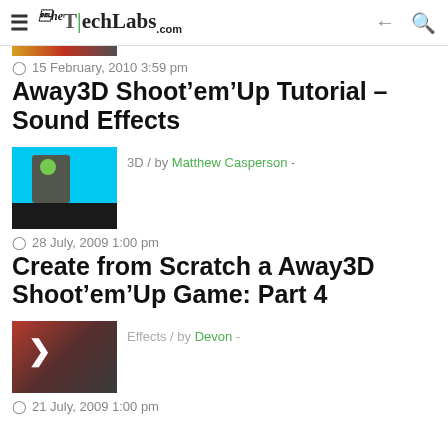TheTechLabs.com
[Figure (photo): Partial colored strip image at top (cropped)]
15 February, 2010 3:59 pm
Away3D Shoot'em'Up Tutorial – Sound Effects
[Figure (screenshot): 3D game screenshot with blue background and character figure]
3D / by Matthew Casperson -
28 July, 2009 1:00 pm
Create from Scratch a Away3D Shoot'em'Up Game: Part 4
[Figure (screenshot): Dark screenshot with arrow/chevron overlay]
Effects / by Devon -
21 July, 2009 1:00 pm